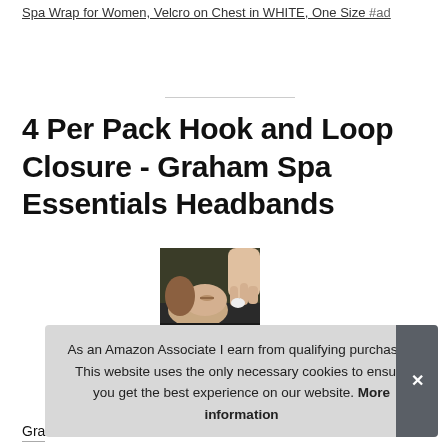Spa Wrap for Women, Velcro on Chest in WHITE, One Size #ad
4 Per Pack Hook and Loop Closure - Graham Spa Essentials Headbands
[Figure (photo): A woman lying down receiving a spa facial treatment, with a hand applying something near her jaw/neck area. Dark background.]
As an Amazon Associate I earn from qualifying purchases. This website uses the only necessary cookies to ensure you get the best experience on our website. More information
Gra